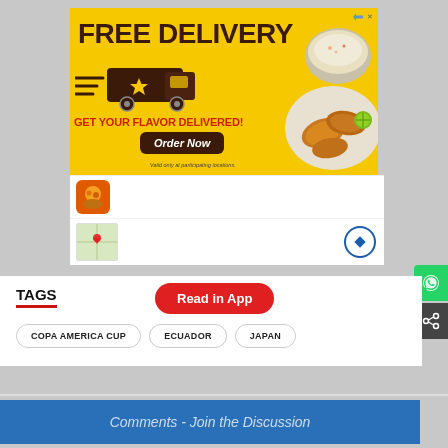[Figure (illustration): Advertisement banner for free delivery food service. Yellow background with 'FREE DELIVERY' text in dark brown, delivery truck graphic, 'GET YOUR FLAVOR DELIVERED!' in red, Order Now button, food photo on right side, small icon and map rows below.]
Read in App
TAGS
COPA AMERICA CUP
ECUADOR
JAPAN
Comments - Join the Discussion